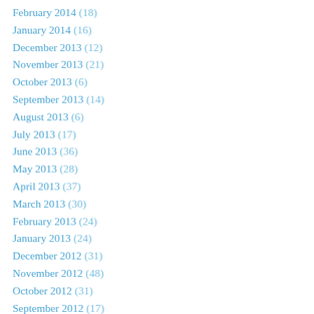February 2014 (18)
January 2014 (16)
December 2013 (12)
November 2013 (21)
October 2013 (6)
September 2013 (14)
August 2013 (6)
July 2013 (17)
June 2013 (36)
May 2013 (28)
April 2013 (37)
March 2013 (30)
February 2013 (24)
January 2013 (24)
December 2012 (31)
November 2012 (48)
October 2012 (31)
September 2012 (17)
August 2012 (6)
July 2012 (12)